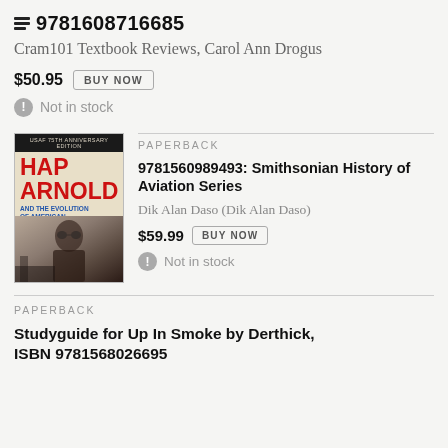9781608716685
Cram101 Textbook Reviews, Carol Ann Drogus
$50.95
Not in stock
[Figure (photo): Book cover: Hap Arnold and the Evolution of American Airpower, USAF 75th Anniversary Edition, by Dik Daso. Red title text on cream background with pilot photo.]
PAPERBACK
9781560989493: Smithsonian History of Aviation Series
Dik Alan Daso (Dik Alan Daso)
$59.99
Not in stock
PAPERBACK
Studyguide for Up In Smoke by Derthick, ISBN 9781568026695